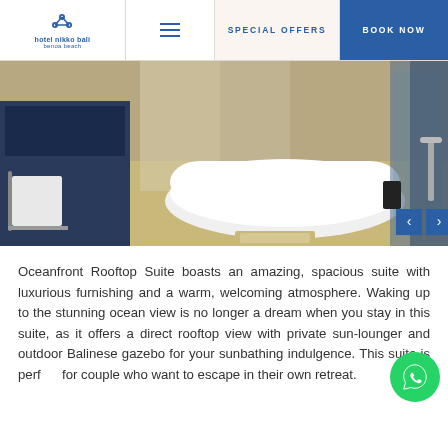[Figure (logo): Hotel Nikko Bali Benoa Beach logo with snowflake/flower icon and text]
SPECIAL OFFERS | BOOK NOW
[Figure (photo): Luxury hotel bathroom with freestanding white bathtub, marble floors, and modern fixtures]
Oceanfront Rooftop Suite boasts an amazing, spacious suite with luxurious furnishing and a warm, welcoming atmosphere. Waking up to the stunning ocean view is no longer a dream when you stay in this suite, as it offers a direct rooftop view with private sun-lounger and outdoor Balinese gazebo for your sunbathing indulgence. This suite is perfect for couple who want to escape in their own retreat.